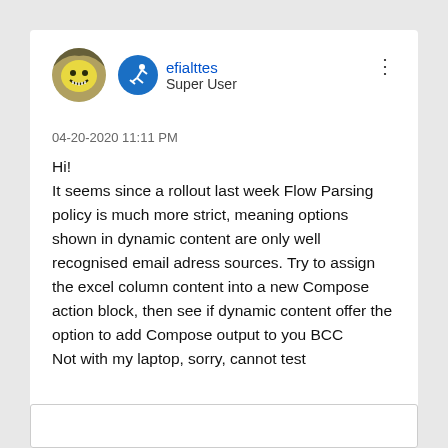[Figure (illustration): User avatar showing a yellow character and a blue circular badge with a running/skiing figure icon next to username efialttes]
efialttes
Super User
04-20-2020 11:11 PM
Hi!
It seems since a rollout last week Flow Parsing policy is much more strict, meaning options shown in dynamic content are only well recognised email adress sources. Try to assign the excel column content into a new Compose action block, then see if dynamic content offer the option to add Compose output to you BCC
Not with my laptop, sorry, cannot test